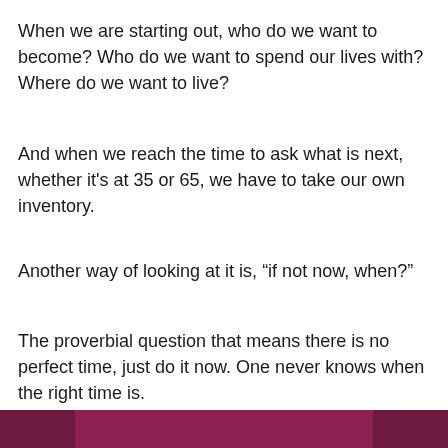When we are starting out, who do we want to become? Who do we want to spend our lives with? Where do we want to live?
And when we reach the time to ask what is next, whether it's at 35 or 65, we have to take our own inventory.
Another way of looking at it is, “if not now, when?”
The proverbial question that means there is no perfect time, just do it now. One never knows when the right time is.